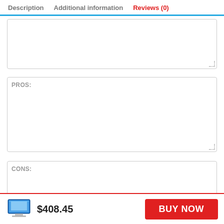Description   Additional information   Reviews (0)
PROS:
CONS:
$408.45
BUY NOW